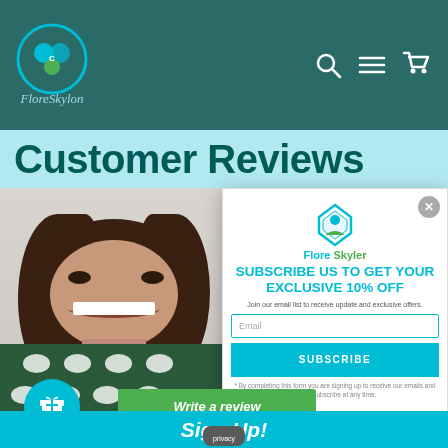FloreSkylon navigation header with logo, search, menu, and cart icons
Customer Reviews
[Figure (photo): Smiling woman with curly brown hair wearing a patterned green and white blouse, photographed against a light background]
[Figure (infographic): Popup modal with Flore Skyler logo, subscribe form headline 'SUBSCRIBE US TO GET YOUR EXCLUSIVE 10% OFF', email input, SUBSCRIBE button, and disclaimer text. Has X close button in top right corner.]
Join our email list to receive update and exclusive offers.
Email
SUBSCRIBE
* By completing this form you are signing up to receive our emails and can unsubscribe at any time.
Write a review
Sign Up!
privacy